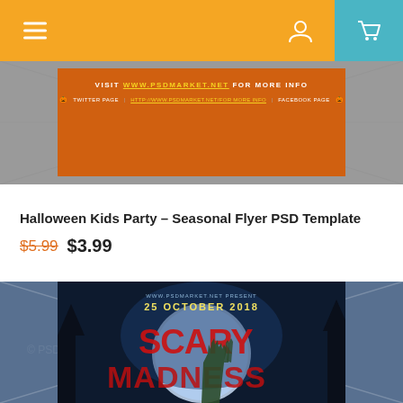Navigation header with hamburger menu, user icon, and cart icon
[Figure (screenshot): Orange Halloween Kids Party flyer preview showing text about visiting a website for more info]
Halloween Kids Party – Seasonal Flyer PSD Template
$5.99 $3.99
[Figure (illustration): Scary Madness Halloween flyer with zombie hand, full moon, and dark blue atmospheric background, dated 25 October 2018]